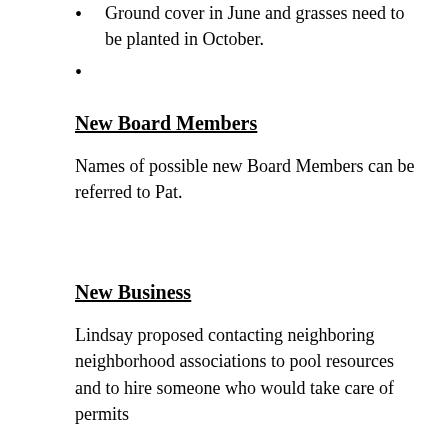Ground cover in June and grasses need to be planted in October.
New Board Members
Names of possible new Board Members can be referred to Pat.
New Business
Lindsay proposed contacting neighboring neighborhood associations to pool resources and to hire someone who would take care of permits